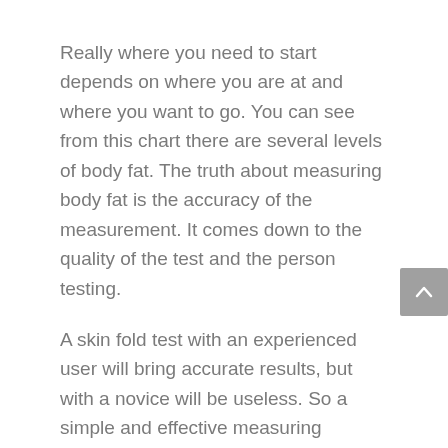Really where you need to start depends on where you are at and where you want to go. You can see from this chart there are several levels of body fat. The truth about measuring body fat is the accuracy of the measurement. It comes down to the quality of the test and the person testing.
A skin fold test with an experienced user will bring accurate results, but with a novice will be useless. So a simple and effective measuring process is an image comparison. Print the chart above and an image of yourself for comparison.
It's always a good idea to get a second opinion on this too. Often people are hard on themselves (or often still too easy on themselves).